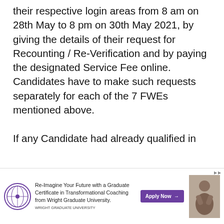their respective login areas from 8 am on 28th May to 8 pm on 30th May 2021, by giving the details of their request for Recounting / Re-Verification and by paying the designated Service Fee online. Candidates have to make such requests separately for each of the 7 FWEs mentioned above.
If any Candidate had already qualified in
[Figure (other): Advertisement banner for Wright Graduate University: 'Re-Imagine Your Future with a Graduate Certificate in Transformational Coaching from Wright Graduate University.' with an Apply Now button and a photo of a woman.]